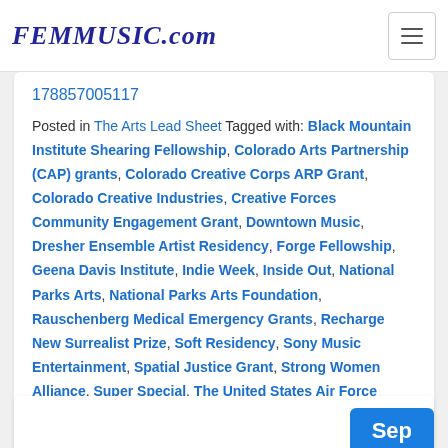FEMMUSIC.com
178857005117
Posted in The Arts Lead Sheet Tagged with: Black Mountain Institute Shearing Fellowship, Colorado Arts Partnership (CAP) grants, Colorado Creative Corps ARP Grant, Colorado Creative Industries, Creative Forces Community Engagement Grant, Downtown Music, Dresher Ensemble Artist Residency, Forge Fellowship, Geena Davis Institute, Indie Week, Inside Out, National Parks Arts, National Parks Arts Foundation, Rauschenberg Medical Emergency Grants, Recharge New Surrealist Prize, Soft Residency, Sony Music Entertainment, Spatial Justice Grant, Strong Women Alliance, Super Special, The United States Air Force Academy's Class of 2023's Painting, Via Art Fund, washingtons, Wildacres Residency Program, Wixen Music Publishing, Women's Audio Mission
[Figure (other): Sep badge partial view at bottom right]